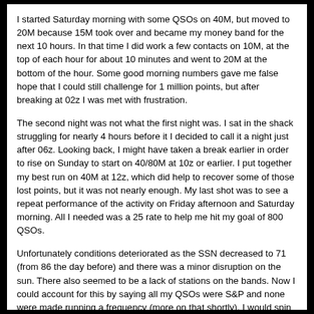I started Saturday morning with some QSOs on 40M, but moved to 20M because 15M took over and became my money band for the next 10 hours. In that time I did work a few contacts on 10M, at the top of each hour for about 10 minutes and went to 20M at the bottom of the hour. Some good morning numbers gave me false hope that I could still challenge for 1 million points, but after breaking at 02z I was met with frustration.
The second night was not what the first night was. I sat in the shack struggling for nearly 4 hours before it I decided to call it a night just after 06z. Looking back, I might have taken a break earlier in order to rise on Sunday to start on 40/80M at 10z or earlier. I put together my best run on 40M at 12z, which did help to recover some of those lost points, but it was not nearly enough. My last shot was to see a repeat performance of the activity on Friday afternoon and Saturday morning. All I needed was a 25 rate to help me hit my goal of 800 QSOs.
Unfortunately conditions deteriorated as the SSN decreased to 71 (from 86 the day before) and there was a minor disruption on the sun. There also seemed to be a lack of stations on the bands. Now I could account for this by saying all my QSOs were S&P and none were made running a frequency (more on that shortly). I would spin through the CW portion of a band and find I had already had a QSO with a majority of the stations, so even making a run for 800 was